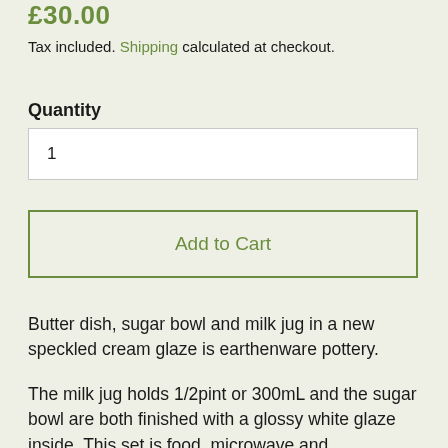£30.00
Tax included. Shipping calculated at checkout.
Quantity
1
Add to Cart
Butter dish, sugar bowl and milk jug in a new speckled cream glaze is earthenware pottery.
The milk jug holds 1/2pint or 300mL and the sugar bowl are both finished with a glossy white glaze inside. This set is food, microwave and dishwasher